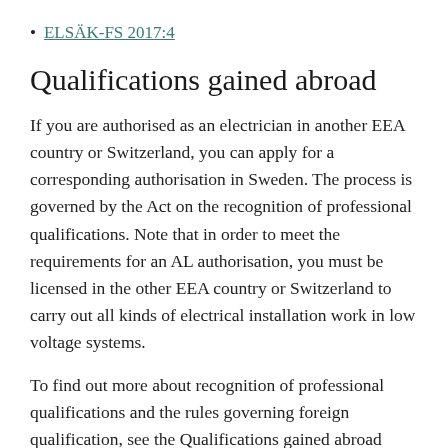ELSÄK-FS 2017:4
Qualifications gained abroad
If you are authorised as an electrician in another EEA country or Switzerland, you can apply for a corresponding authorisation in Sweden. The process is governed by the Act on the recognition of professional qualifications. Note that in order to meet the requirements for an AL authorisation, you must be licensed in the other EEA country or Switzerland to carry out all kinds of electrical installation work in low voltage systems.
To find out more about recognition of professional qualifications and the rules governing foreign qualification, see the Qualifications gained abroad